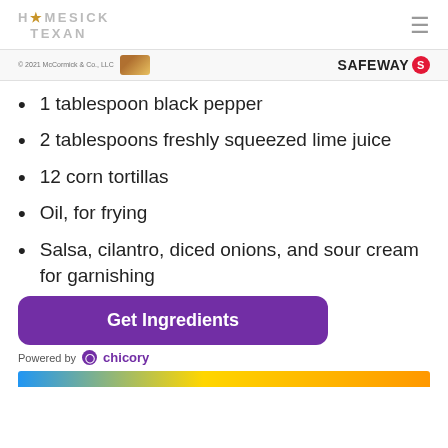HOMESICK TEXAN
[Figure (logo): McCormick & Co. LLC copyright notice with product image and Safeway logo with red S icon]
1 tablespoon black pepper
2 tablespoons freshly squeezed lime juice
12 corn tortillas
Oil, for frying
Salsa, cilantro, diced onions, and sour cream for garnishing
Get Ingredients
Powered by chicory